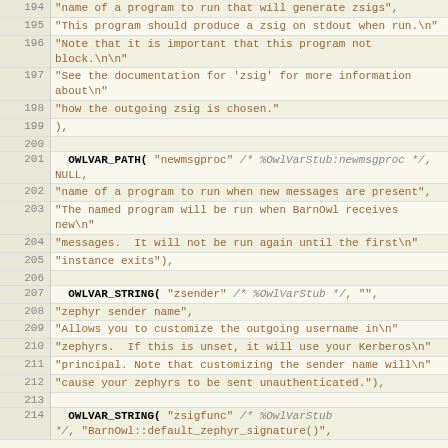| line | code |
| --- | --- |
| 194 | "name of a program to run that will generate zsigs", |
| 195 | "This program should produce a zsig on stdout when run.\n" |
| 196 | "Note that it is important that this program not block.\n\n" |
| 197 | "See the documentation for 'zsig' for more information about\n" |
| 198 | "how the outgoing zsig is chosen." |
| 199 | ), |
| 200 |  |
| 201 | OWLVAR_PATH( "newmsgproc" /* %OwlVarStub:newmsgproc */, NULL, |
| 202 | "name of a program to run when new messages are present", |
| 203 | "The named program will be run when BarnOwl receives new\n" |
| 204 | "messages.  It will not be run again until the first\n" |
| 205 | "instance exits"), |
| 206 |  |
| 207 | OWLVAR_STRING( "zsender" /* %OwlVarStub */, "", |
| 208 | "zephyr sender name", |
| 209 | "Allows you to customize the outgoing username in\n" |
| 210 | "zephyrs.  If this is unset, it will use your Kerberos\n" |
| 211 | "principal. Note that customizing the sender name will\n" |
| 212 | "cause your zephyrs to be sent unauthenticated."), |
| 213 |  |
| 214 | OWLVAR_STRING( "zsigfunc" /* %OwlVarStub */, "BarnOwl::default_zephyr_signature()", |